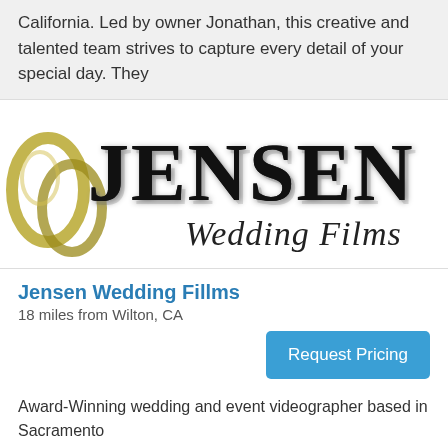California. Led by owner Jonathan, this creative and talented team strives to capture every detail of your special day. They
[Figure (logo): Jensen Wedding Films logo with decorative rings on the left and stylized black text 'JENSEN' with script 'Wedding Films' below]
Jensen Wedding Fillms
18 miles from Wilton, CA
Request Pricing
Award-Winning wedding and event videographer based in Sacramento